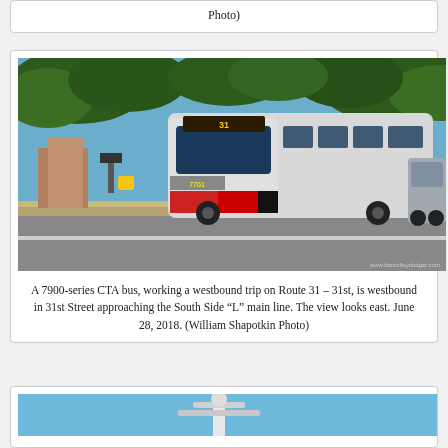Photo)
[Figure (photo): A 7900-series CTA bus on Route 31 westbound in 31st Street, approaching the South Side L main line. View looks east. June 28, 2018.]
A 7900-series CTA bus, working a westbound trip on Route 31 – 31st, is westbound in 31st Street approaching the South Side “L” main line. The view looks east. June 28, 2018. (William Shapotkin Photo)
[Figure (photo): Partial view of a structure, likely a transit-related photo, cut off at bottom of page.]